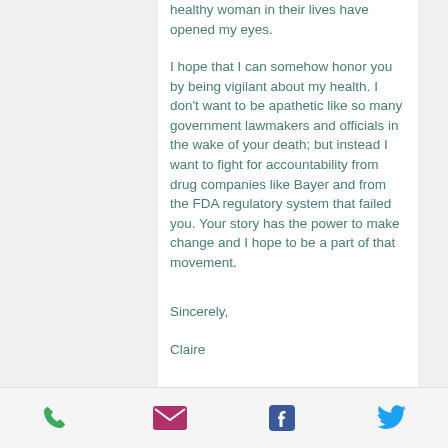healthy woman in their lives have opened my eyes.
I hope that I can somehow honor you by being vigilant about my health. I don't want to be apathetic like so many government lawmakers and officials in the wake of your death; but instead I want to fight for accountability from drug companies like Bayer and from the FDA regulatory system that failed you. Your story has the power to make change and I hope to be a part of that movement.
Sincerely,
Claire
phone | email | facebook | twitter